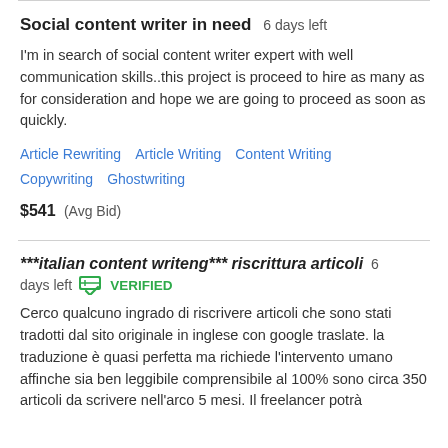Social content writer in need  6 days left
I'm in search of social content writer expert with well communication skills..this project is proceed to hire as many as for consideration and hope we are going to proceed as soon as quickly.
Article Rewriting   Article Writing   Content Writing   Copywriting   Ghostwriting
$541  (Avg Bid)
***italian content writeng*** riscrittura articoli  6 days left  VERIFIED
Cerco qualcuno ingrado di riscrivere articoli che sono stati tradotti dal sito originale in inglese con google traslate. la traduzione è quasi perfetta ma richiede l'intervento umano affinche sia ben leggibile comprensibile al 100% sono circa 350 articoli da scrivere nell'arco 5 mesi. Il freelancer potrà